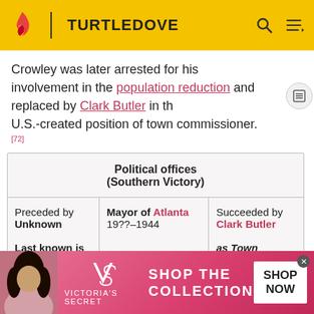TURTLEDOVE
Crowley was later arrested for his involvement in the population reduction and replaced by Clark Butler in the U.S.-created position of town commissioner.[72]
| Political offices (Southern Victory) |  |  |
| --- | --- | --- |
| Preceded by Unknown
Last known is
James M. Calhoun | Mayor of Atlanta
19??-1944 | Succeeded by Clark Butler
as Town Commissioner |
Cummins
[Figure (infographic): Victoria's Secret advertisement banner: SHOP THE COLLECTION with SHOP NOW button]